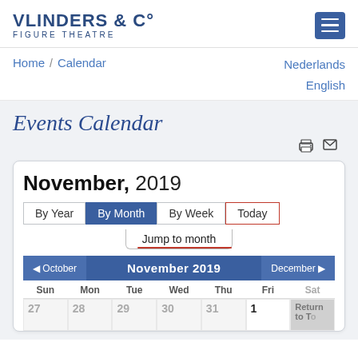[Figure (logo): Vlinders & C° Figure Theatre logo with hamburger menu button]
Home / Calendar    Nederlands English
Events Calendar
November, 2019 — By Year | By Month | By Week | Today | Jump to month
| Sun | Mon | Tue | Wed | Thu | Fri | Sat |
| --- | --- | --- | --- | --- | --- | --- |
| 27 | 28 | 29 | 30 | 31 | 1 | 2 |